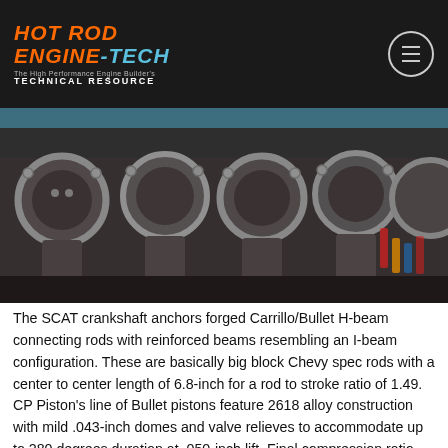Hot Rod Engine Tech — The High Performance Engine Builder's Technical Resource
[Figure (photo): Close-up photo of forged Carrillo/Bullet H-beam connecting rods laid out in a row on a dark surface, showing the large and small end bearing bores of multiple rods.]
The SCAT crankshaft anchors forged Carrillo/Bullet H-beam connecting rods with reinforced beams resembling an I-beam configuration. These are basically big block Chevy spec rods with a center to center length of 6.8-inch for a rod to stroke ratio of 1.49. CP Piston's line of Bullet pistons feature 2618 alloy construction with mild .043-inch domes and valve relieves to accommodate up to 280 degrees duration at .050-inch lift. Final compression ratio with the 74cc chambers in the Kauffman Pontiac cylinder heads is 13.5:1. With the camshaft intake closing event at 74 degrees ABDC it yields an effective compression ratio of 8:1 although Von is planning to run E85 fuel.